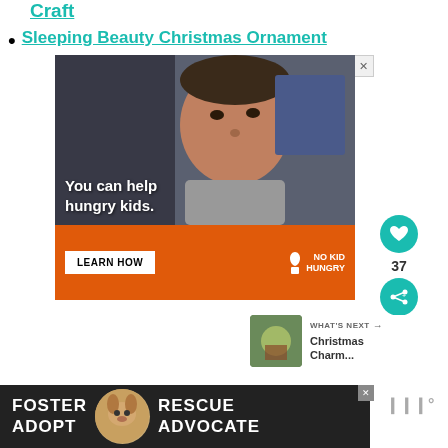Craft
Sleeping Beauty Christmas Ornament
[Figure (photo): Advertisement for No Kid Hungry showing a young boy eating, with text 'You can help hungry kids.' and an orange bar with 'LEARN HOW' button and No Kid Hungry logo.]
[Figure (photo): What's Next thumbnail showing Christmas Charm...]
[Figure (photo): Bottom banner advertisement: Foster Adopt Rescue Advocate with a beagle dog image.]